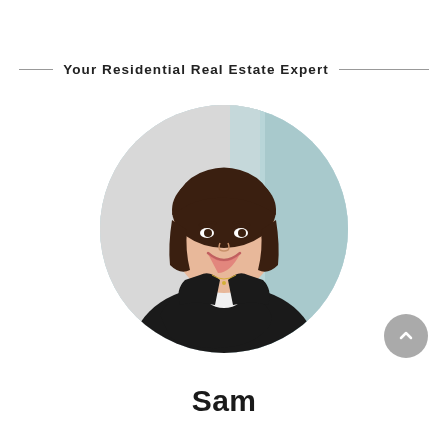Your Residential Real Estate Expert
[Figure (photo): Professional headshot of a woman named Sam with dark hair, wearing a black blazer and white top, arms crossed, smiling, against a teal/turquoise door background. Photo is cropped in a circle.]
Sam